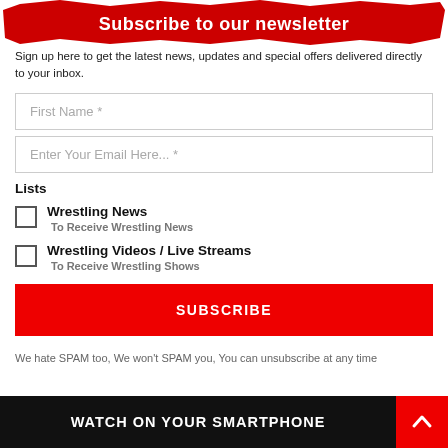Subscribe to our newsletter
Sign up here to get the latest news, updates and special offers delivered directly to your inbox.
First Name *
Enter Your Email Here... *
Lists
Wrestling News — To Receive Wrestling News
Wrestling Videos / Live Streams — To Receive Wrestling Shows
SUBSCRIBE
We hate SPAM too, We won't SPAM you, You can unsubscribe at any time
WATCH ON YOUR SMARTPHONE